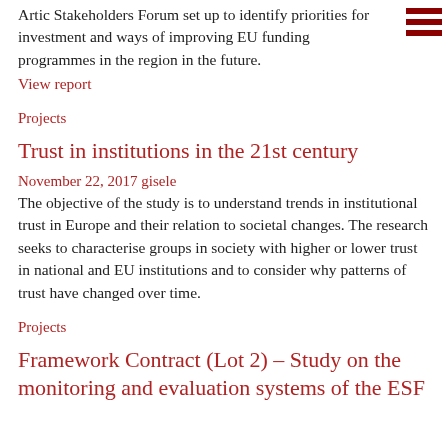Artic Stakeholders Forum set up to identify priorities for investment and ways of improving EU funding programmes in the region in the future.
View report
Projects
Trust in institutions in the 21st century
November 22, 2017 gisele
The objective of the study is to understand trends in institutional trust in Europe and their relation to societal changes. The research seeks to characterise groups in society with higher or lower trust in national and EU institutions and to consider why patterns of trust have changed over time.
Projects
Framework Contract (Lot 2) – Study on the monitoring and evaluation systems of the ESF